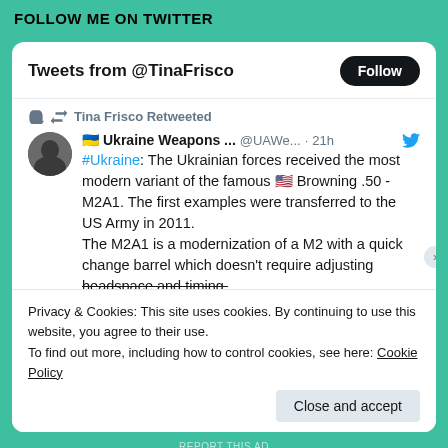FOLLOW ME ON TWITTER
Tweets from @TinaFrisco
Tina Frisco Retweeted
🇺🇦 Ukraine Weapons ... @UAWe... · 21h
#Ukraine: The Ukrainian forces received the most modern variant of the famous 🇺🇸 Browning .50 - M2A1. The first examples were transferred to the US Army in 2011.
The M2A1 is a modernization of a M2 with a quick change barrel which doesn't require adjusting headspace and timing.
Privacy & Cookies: This site uses cookies. By continuing to use this website, you agree to their use.
To find out more, including how to control cookies, see here: Cookie Policy
Close and accept